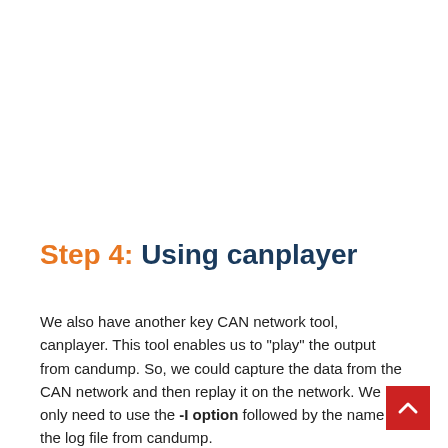Step 4: Using canplayer
We also have another key CAN network tool, canplayer. This tool enables us to "play" the output from candump. So, we could capture the data from the CAN network and then replay it on the network. We only need to use the -I option followed by the name of the log file from candump.